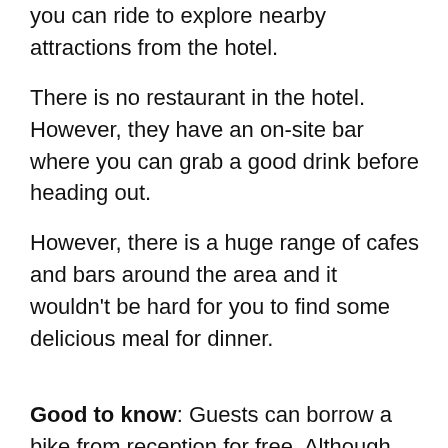you can ride to explore nearby attractions from the hotel.
There is no restaurant in the hotel. However, they have an on-site bar where you can grab a good drink before heading out.
However, there is a huge range of cafes and bars around the area and it wouldn't be hard for you to find some delicious meal for dinner.
Good to know: Guests can borrow a bike from reception for free. Although you'll need to reserve one as it is more likely to be fully